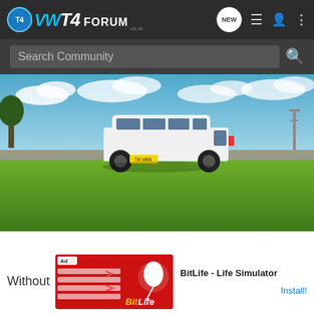VW T4 FORUM
Search Community
[Figure (photo): White VW T4 van parked on a tarmac road surrounded by green grass under a blue sky with white clouds]
Without
[Figure (screenshot): Advertisement banner for BitLife - Life Simulator app with red promotional image on the left and install button on the right]
BitLife - Life Simulator
Install!